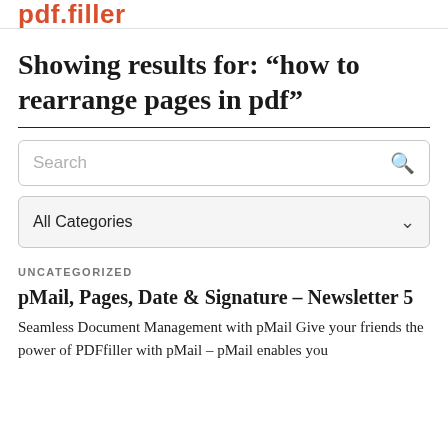pdf.filler
Showing results for: “how to rearrange pages in pdf”
Search
All Categories
UNCATEGORIZED
pMail, Pages, Date & Signature – Newsletter 5
Seamless Document Management with pMail Give your friends the power of PDFfiller with pMail – pMail enables you